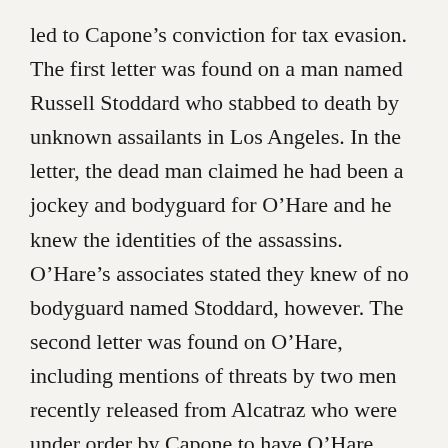led to Capone's conviction for tax evasion. The first letter was found on a man named Russell Stoddard who stabbed to death by unknown assailants in Los Angeles. In the letter, the dead man claimed he had been a jockey and bodyguard for O'Hare and he knew the identities of the assassins. O'Hare's associates stated they knew of no bodyguard named Stoddard, however. The second letter was found on O'Hare, including mentions of threats by two men recently released from Alcatraz who were under order by Capone to have O'Hare killed.
Despite the leads, no arrests were made in connection to O'Hare's killing. The case remains